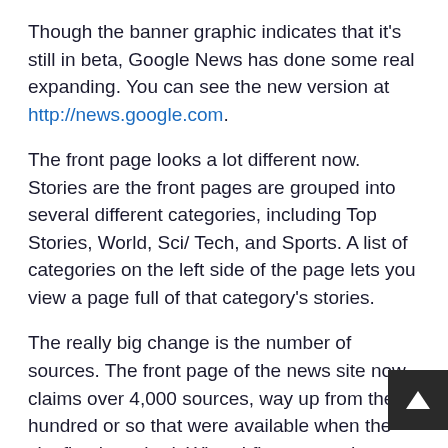Though the banner graphic indicates that it's still in beta, Google News has done some real expanding. You can see the new version at http://news.google.com.
The front page looks a lot different now. Stories are the front pages are grouped into several different categories, including Top Stories, World, Sci/ Tech, and Sports. A list of categories on the left side of the page lets you view a page full of that category's stories.
The really big change is the number of sources. The front page of the news site now claims over 4,000 sources, way up from the hundred or so that were available when the site first launched. When I first covered Google News in March of this year, I noted that the news search contained seven days' wor material. This new incarnation seems to have expanded in that regard too; I found material from